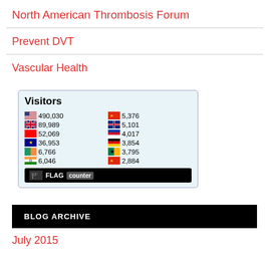North American Thrombosis Forum
Prevent DVT
Vascular Health
[Figure (infographic): Flag counter widget showing visitor statistics by country: US 490,030; UK 89,989; Canada 52,069; Australia 36,953; Ireland 6,766; India 6,046; China 5,376; New Zealand 5,101; Philippines 4,017; Germany 3,854; South Africa 3,795; China 2,884. Includes FLAG counter logo at bottom.]
BLOG ARCHIVE
July 2015